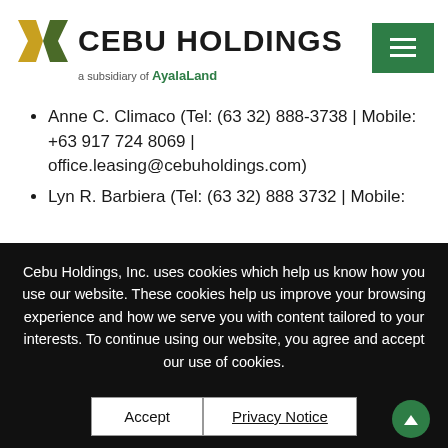[Figure (logo): Cebu Holdings logo with X icon in gold/olive colors and 'CEBU HOLDINGS' text, subsidiary of AyalaLand]
Anne C. Climaco (Tel: (63 32) 888-3738 | Mobile: +63 917 724 8069 | office.leasing@cebuholdings.com)
Lyn R. Barbiera (Tel: (63 32) 888 3732 | Mobile:
Cebu Holdings, Inc. uses cookies which help us know how you use our website. These cookies help us improve your browsing experience and how we serve you with content tailored to your interests. To continue using our website, you agree and accept our use of cookies.
Accept | Privacy Notice